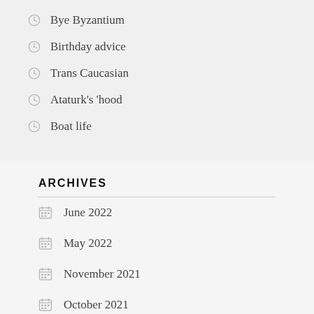Bye Byzantium
Birthday advice
Trans Caucasian
Ataturk's 'hood
Boat life
ARCHIVES
June 2022
May 2022
November 2021
October 2021
September 2021
August 2021